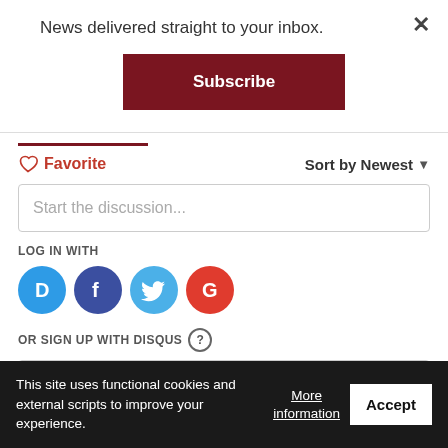News delivered straight to your inbox.
Subscribe
♡ Favorite
Sort by Newest ▾
Start the discussion...
LOG IN WITH
[Figure (other): Social login icons: Disqus (D), Facebook (F), Twitter bird, Google (G)]
OR SIGN UP WITH DISQUS ?
Name
This site uses functional cookies and external scripts to improve your experience.
More information
Accept